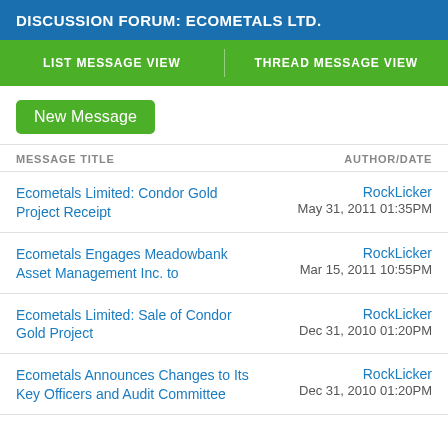DISCUSSION FORUM: ECOMETALS LTD.
LIST MESSAGE VIEW | THREAD MESSAGE VIEW
New Message
| MESSAGE TITLE | AUTHOR/DATE |
| --- | --- |
| Ecometals Limited: Condor Gold Project Receipt | RockLicker
May 31, 2011 01:35PM |
| Ecometals Engages Meadowbank Asset Management Inc. to | RockLicker
Mar 15, 2011 10:55PM |
| Ecometals Limited: Sale of Condor Gold Project | RockLicker
Dec 31, 2010 01:20PM |
| Ecometals Announces Changes to Its Key Officers and Audit Committee | RockLicker
Dec 31, 2010 01:20PM |